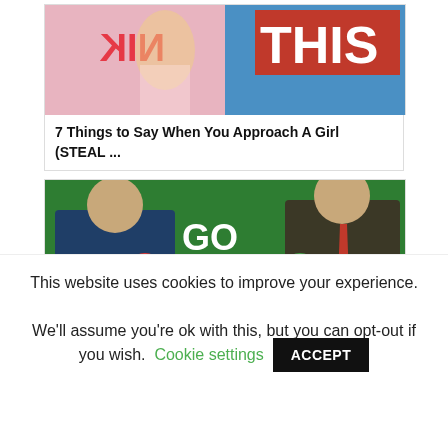[Figure (screenshot): Thumbnail for article: two people, Nike logo, partial red text 'THIS' on blue background - top of article card for '7 Things to Say When You Approach A Girl (STEAL ...']
7 Things to Say When You Approach A Girl (STEAL ...
[Figure (screenshot): Thumbnail with two illustrated men on green background. Text: 'GO TALK TO HER!' with red X circle on left figure and green checkmark on right figure. Letter M logo at bottom center. Article: 'How to Overcome Approach Anxiety']
How to Overcome Approach Anxiety
This website uses cookies to improve your experience.

We'll assume you're ok with this, but you can opt-out if you wish.
Cookie settings
ACCEPT